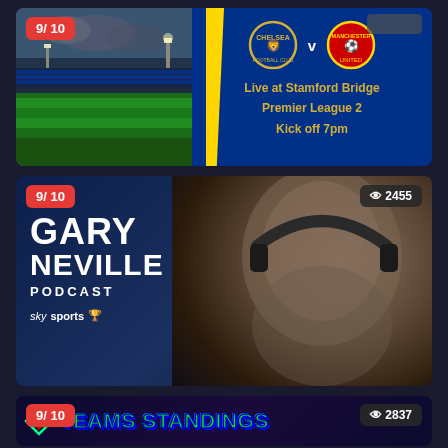[Figure (screenshot): Chelsea vs Manchester United football match promotion card. Shows Stamford Bridge stadium on left, Chelsea and Man United crests with 'v' between them. Text: 'Live at Stamford Bridge / Premier League 2 / Kick off 7pm' on blue background.]
[Figure (screenshot): The Gary Neville Podcast thumbnail. Shows man wearing headphones on right. Left side text: 'THE GARY NEVILLE PODCAST' with Sky Sports branding. Rating badge '9/10' top-left, views '2455' top-right.]
[Figure (screenshot): Teams Standings thumbnail card. Shows 'TEAMS STANDINGS' in green/blue bold text with diamond icon. Rating badge '9/10' bottom-left, views '2837' bottom-right. Partial view of next line text below.]